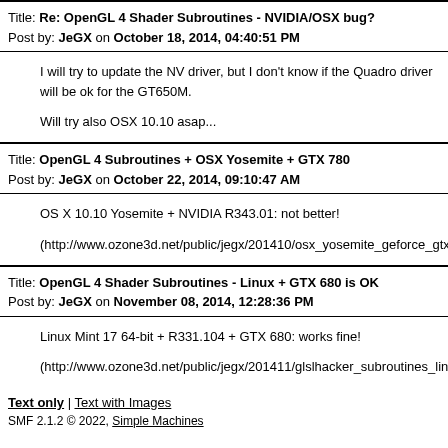Title: Re: OpenGL 4 Shader Subroutines - NVIDIA/OSX bug?
Post by: JeGX on October 18, 2014, 04:40:51 PM
I will try to update the NV driver, but I don't know if the Quadro driver will be ok for the GT650M.

Will try also OSX 10.10 asap...
Title: OpenGL 4 Subroutines + OSX Yosemite + GTX 780
Post by: JeGX on October 22, 2014, 09:10:47 AM
OS X 10.10 Yosemite + NVIDIA R343.01: not better!

(http://www.ozone3d.net/public/jegx/201410/osx_yosemite_geforce_gtx7
Title: OpenGL 4 Shader Subroutines - Linux + GTX 680 is OK
Post by: JeGX on November 08, 2014, 12:28:36 PM
Linux Mint 17 64-bit + R331.104 + GTX 680: works fine!

(http://www.ozone3d.net/public/jegx/201411/glslhacker_subroutines_linu
Text only | Text with Images
SMF 2.1.2 © 2022, Simple Machines